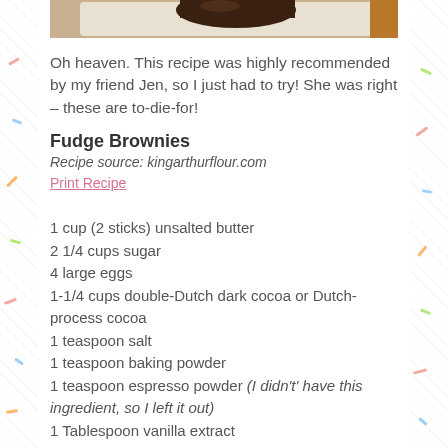[Figure (photo): Top portion of a brownie photo on a plate, partially cropped at the top of the page]
Oh heaven. This recipe was highly recommended by my friend Jen, so I just had to try! She was right – these are to-die-for!
Fudge Brownies
Recipe source: kingarthurflour.com
Print Recipe
1 cup (2 sticks) unsalted butter
2 1/4 cups sugar
4 large eggs
1-1/4 cups double-Dutch dark cocoa or Dutch-process cocoa
1 teaspoon salt
1 teaspoon baking powder
1 teaspoon espresso powder (I didn't' have this ingredient, so I left it out)
1 Tablespoon vanilla extract